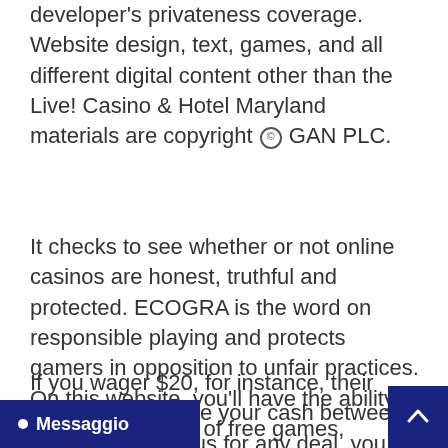developer's privateness coverage. Website design, text, games, and all different digital content other than the Live! Casino & Hotel Maryland materials are copyright © GAN PLC.
It checks to see whether or not online casinos are honest, truthful and protected. ECOGRA is the word on responsible playing and protects gamers in opposition to unfair practices. On this website, you'll have the ability to play varied forms of free games, including slots, video poker, blackjack, roulette, craps, baccarat, poker, bingo and keno.
If you wager $20, for instance, their program will divide your cash between a spread of various for any deal, you do not need a promo code: